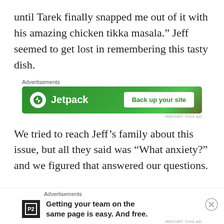until Tarek finally snapped me out of it with his amazing chicken tikka masala.” Jeff seemed to get lost in remembering this tasty dish.
[Figure (screenshot): Jetpack advertisement banner with green background showing Jetpack logo and 'Back up your site' button]
We tried to reach Jeff’s family about this issue, but all they said was “What anxiety?” and we figured that answered our questions.
[Figure (screenshot): P2 advertisement banner showing 'Getting your team on the same page is easy. And free.']